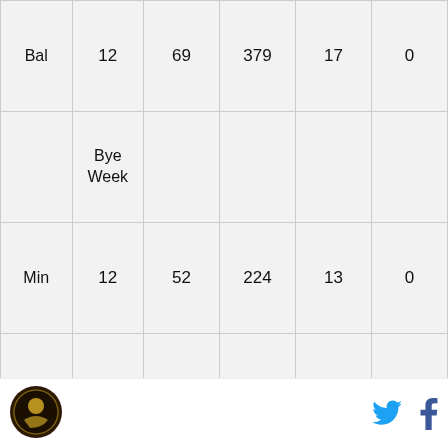| Bal | 12 | 69 | 379 | 17 | 0 |
|  | Bye Week |  |  |  |  |
| Min | 12 | 52 | 224 | 13 | 0 |
| Cle | 12 | 65 | 375 | 17 | 2 |
| Atl | 9 | 76 | 334 | 17 | 2 |
| Was | 9 | 48 | 294 | 20 | 1 |
| Chi | 15 | 77 | 317 | 13 | 1 |
[Figure (logo): Circular logo with dark background, appears to be a sports team or site logo]